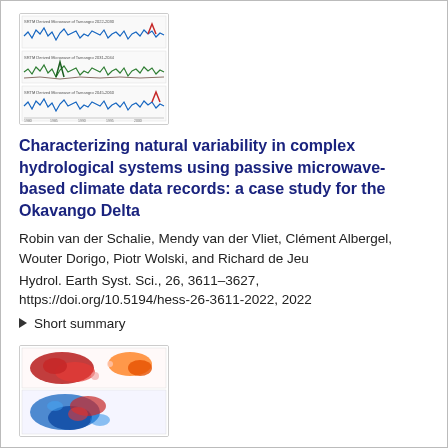[Figure (continuous-plot): Thumbnail of a scientific figure showing three panels of time-series line charts with colored lines (blue, red, green) representing hydrological data over time.]
Characterizing natural variability in complex hydrological systems using passive microwave-based climate data records: a case study for the Okavango Delta
Robin van der Schalie, Mendy van der Vliet, Clément Albergel, Wouter Dorigo, Piotr Wolski, and Richard de Jeu
Hydrol. Earth Syst. Sci., 26, 3611–3627, https://doi.org/10.5194/hess-26-3611-2022, 2022
▶ Short summary
[Figure (map): Thumbnail of a scientific figure showing two map panels with red and blue color coding, likely showing spatial distribution of hydrological or climate variables over the Okavango Delta region.]